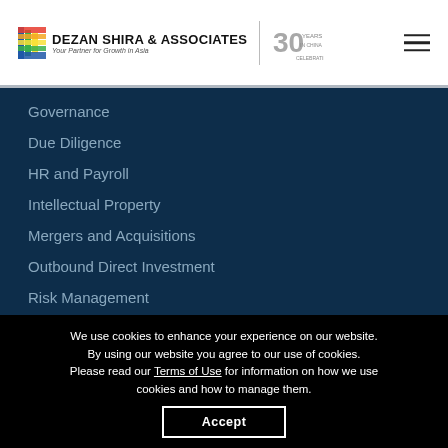DEZAN SHIRA & ASSOCIATES — Your Partner for Growth in Asia
Governance
Due Diligence
HR and Payroll
Intellectual Property
Mergers and Acquisitions
Outbound Direct Investment
Risk Management
Tax
We use cookies to enhance your experience on our website. By using our website you agree to our use of cookies. Please read our Terms of Use for information on how we use cookies and how to manage them.
Accept